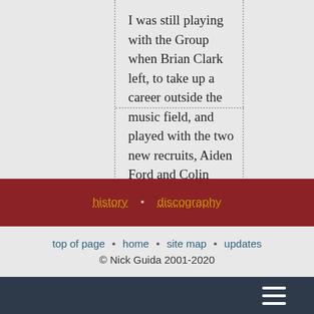I was still playing with the Group when Brian Clark left, to take up a career outside the music field, and played with the two new recruits, Aiden Ford and Colin Tommis, who lived not far from me in North Birmingham. I left the Group at about the same time as Colin Tommis, who had played with the Group for 18 months, which I reckon was probably the summer of 1982. Later, the Group was joined by Neil Cox, but I am sure I never played in this line-up.
history • discography
top of page • home • site map • updates
© Nick Guida 2001-2020